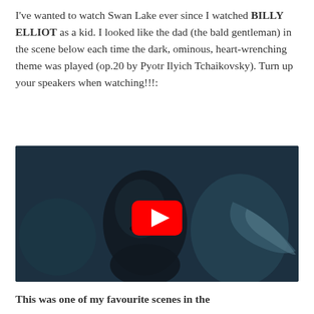I've wanted to watch Swan Lake ever since I watched BILLY ELLIOT as a kid. I looked like the dad (the bald gentleman) in the scene below each time the dark, ominous, heart-wrenching theme was played (op.20 by Pyotr Ilyich Tchaikovsky). Turn up your speakers when watching!!!:
[Figure (screenshot): YouTube video embed showing 'Billy Elliot and the Swan Lake' with a close-up of a young male face against a dark teal background, with a red YouTube play button in the center.]
This was one of my favourite scenes in the